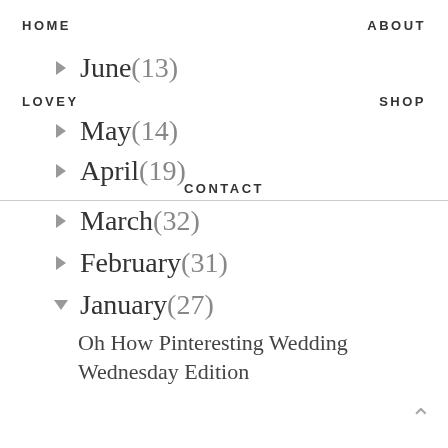HOME    ABOUT
▶ June (13)
LOVEY    SHOP
▶ May (14)
▶ April (19)
CONTACT
▶ March (32)
▶ February (31)
▼ January (27)
Oh How Pinteresting Wedding Wednesday Edition